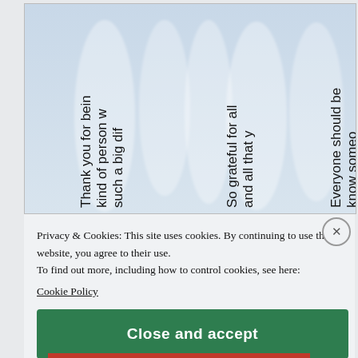[Figure (photo): Decorative image with rotated text phrases on a light blue-grey background: 'Thank you for bein kind of person w such a big dif', 'So grateful for all and all that y', 'Everyone should be know someo']
Privacy & Cookies: This site uses cookies. By continuing to use this website, you agree to their use. To find out more, including how to control cookies, see here:
Cookie Policy
Close and accept